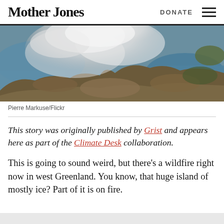Mother Jones | DONATE
[Figure (photo): Satellite aerial view of west Greenland showing wildfire smoke over terrain and ocean, by Pierre Markuse/Flickr]
Pierre Markuse/Flickr
This story was originally published by Grist and appears here as part of the Climate Desk collaboration.
This is going to sound weird, but there's a wildfire right now in west Greenland. You know, that huge island of mostly ice? Part of it is on fire.